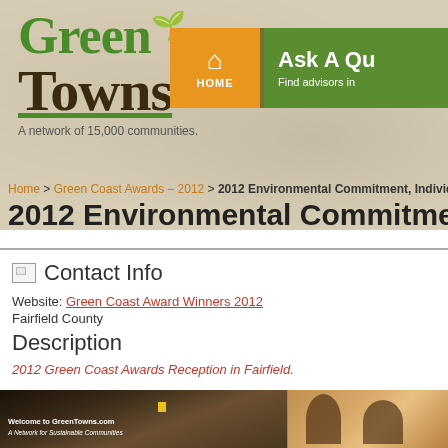Green Towns — A network of 15,000 communities.
Home > Green Coast Awards – 2012 > 2012 Environmental Commitment, Individ…
2012 Environmental Commitment,
Contact Info
Website: Green Coast Award Winners 2012
Fairfield County
Description
2012 Green Coast Awards Reception in Fairfield.
[Figure (photo): Photo of two people at a Green Towns event, with a Welcome to GreenTowns.com banner visible]